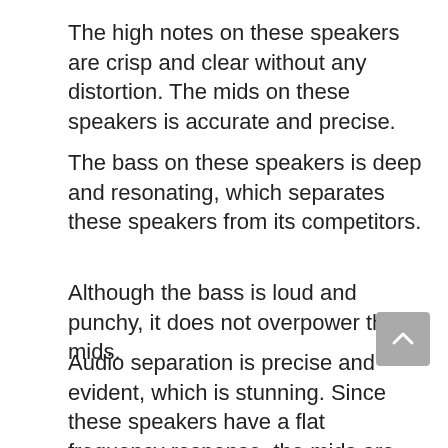The high notes on these speakers are crisp and clear without any distortion. The mids on these speakers is accurate and precise.
The bass on these speakers is deep and resonating, which separates these speakers from its competitors.
Although the bass is loud and punchy, it does not overpower the mids.
Audio separation is precise and evident, which is stunning. Since these speakers have a flat frequency response, the mids are precise and vocals shine on them.
The titanium horn-loaded tweeter provides